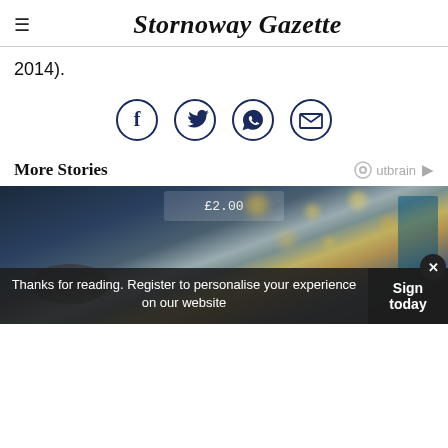Stornoway Gazette
2014).
[Figure (infographic): Four social sharing icons in circles: Facebook (f), Twitter (bird), WhatsApp (phone in speech bubble), Email (envelope)]
More Stories
[Figure (photo): A person shopping in a supermarket aisle, with blurred bokeh lights in the background and price tags visible on shelves.]
Thanks for reading. Register to personalise your experience on our website
Sign today